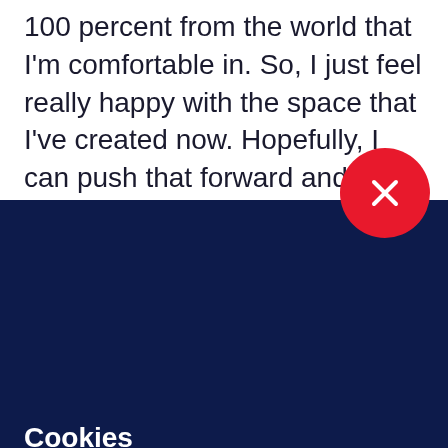100 percent from the world that I'm comfortable in. So, I just feel really happy with the space that I've created now. Hopefully, I can push that forward and really home in on the style of it and try and get better and better. There's alway
[Figure (other): Red circular close button with white X icon, overlapping the boundary between the white top section and the dark navy bottom section]
Cookies
We use cookies to improve your experience on our website, assess how you use our website and for website security purposes. By continuing to navigate this website, we'll assume you agree to this. Read more about what cookies do and how to adjust your settings here.